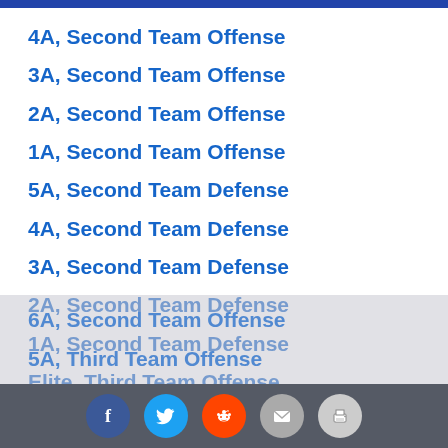4A, Second Team Offense
3A, Second Team Offense
2A, Second Team Offense
1A, Second Team Offense
5A, Second Team Defense
4A, Second Team Defense
3A, Second Team Defense
2A, Second Team Defense
1A, Second Team Defense
Elite, Third Team Offense
Elite, Third Team Defense
6A, Second Team Offense
5A, Third Team Offense